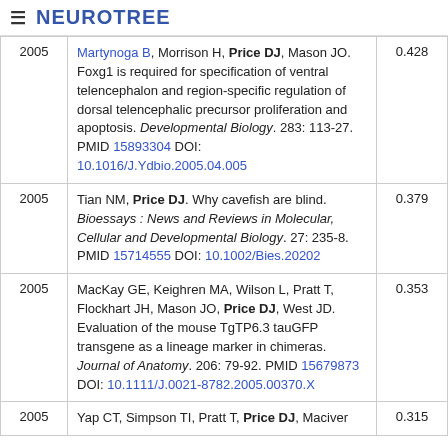≡ NEUROTREE
| Year | Reference | Score |
| --- | --- | --- |
| 2005 | Martynoga B, Morrison H, Price DJ, Mason JO. Foxg1 is required for specification of ventral telencephalon and region-specific regulation of dorsal telencephalic precursor proliferation and apoptosis. Developmental Biology. 283: 113-27. PMID 15893304 DOI: 10.1016/J.Ydbio.2005.04.005 | 0.428 |
| 2005 | Tian NM, Price DJ. Why cavefish are blind. Bioessays : News and Reviews in Molecular, Cellular and Developmental Biology. 27: 235-8. PMID 15714555 DOI: 10.1002/Bies.20202 | 0.379 |
| 2005 | MacKay GE, Keighren MA, Wilson L, Pratt T, Flockhart JH, Mason JO, Price DJ, West JD. Evaluation of the mouse TgTP6.3 tauGFP transgene as a lineage marker in chimeras. Journal of Anatomy. 206: 79-92. PMID 15679873 DOI: 10.1111/J.0021-8782.2005.00370.X | 0.353 |
| 2005 | Yap CT, Simpson TI, Pratt T, Price DJ, Maciver | 0.315 |